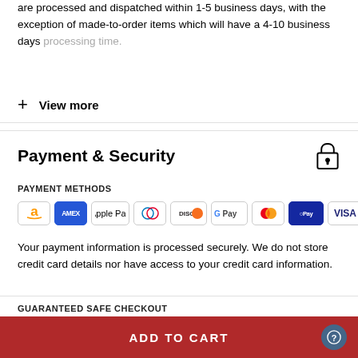are processed and dispatched within 1-5 business days, with the exception of made-to-order items which will have a 4-10 business days processing time.
+ View more
Payment & Security
PAYMENT METHODS
[Figure (infographic): Payment method icons: Amazon, Amex, Apple Pay, Diners Club, Discover, Google Pay, Mastercard, Samsung Pay, Visa]
Your payment information is processed securely. We do not store credit card details nor have access to your credit card information.
GUARANTEED SAFE CHECKOUT
ADD TO CART